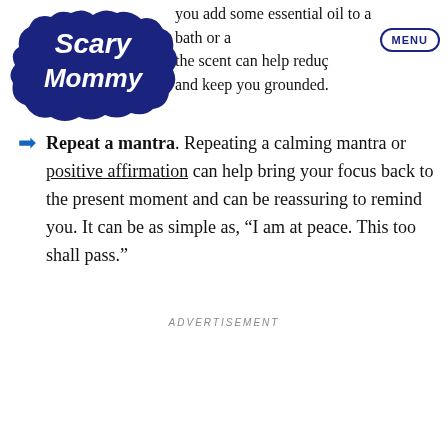[Figure (logo): Scary Mommy logo in dark navy blue, hand-drawn style bubble lettering]
you add some essential oil to a bath or a the scent can help reduce and keep you grounded.
Repeat a mantra. Repeating a calming mantra or positive affirmation can help bring your focus back to the present moment and can be reassuring to remind you. It can be as simple as, “I am at peace. This too shall pass.”
ADVERTISEMENT